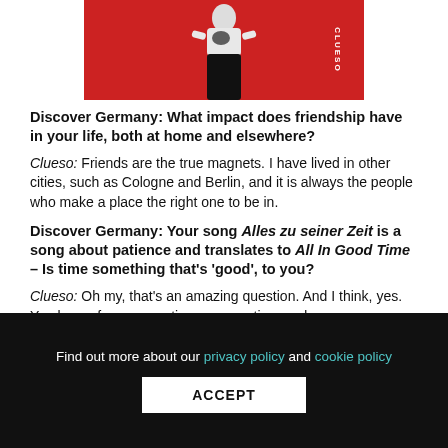[Figure (photo): Person standing against a red background, wearing a white and black top with black pants. 'CLUESO' text appears vertically on the right side of the image.]
Discover Germany: What impact does friendship have in your life, both at home and elsewhere?
Clueso: Friends are the true magnets. I have lived in other cities, such as Cologne and Berlin, and it is always the people who make a place the right one to be in.
Discover Germany: Your song Alles zu seiner Zeit is a song about patience and translates to All In Good Time – Is time something that’s ‘good’, to you?
Clueso: Oh my, that’s an amazing question. And I think, yes. You know, for any creative process, time and even
Find out more about our privacy policy and cookie policy ACCEPT